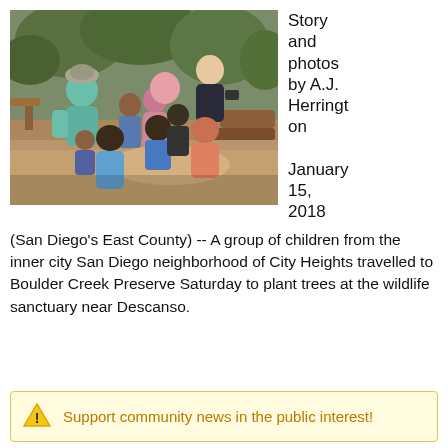[Figure (photo): Group of children gathered outdoors in a wooded area with two adults, one wearing a teal shirt and hat, another in dark clothing. Children are in a circle looking at something. Dirt path and trees in background.]
Story and photos by A.J. Herrington

January 15, 2018
(San Diego's East County) -- A group of children from the inner city San Diego neighborhood of City Heights travelled to Boulder Creek Preserve Saturday to plant trees at the wildlife sanctuary near Descanso.
Support community news in the public interest!